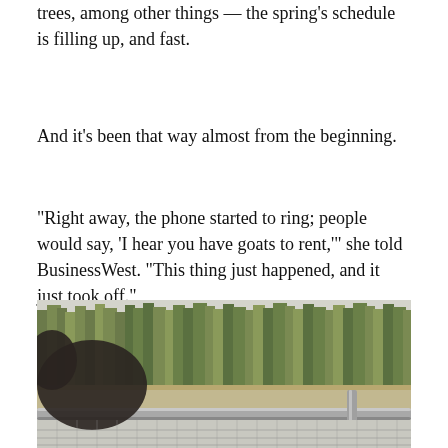trees, among other things — the spring's schedule is filling up, and fast.
And it's been that way almost from the beginning.
“Right away, the phone started to ring; people would say, ‘I hear you have goats to rent,’” she told BusinessWest. “This thing just happened, and it just took off.”
[Figure (photo): Outdoor photo showing a goat near a metal fence rail with trees in the background, winter/early spring setting.]